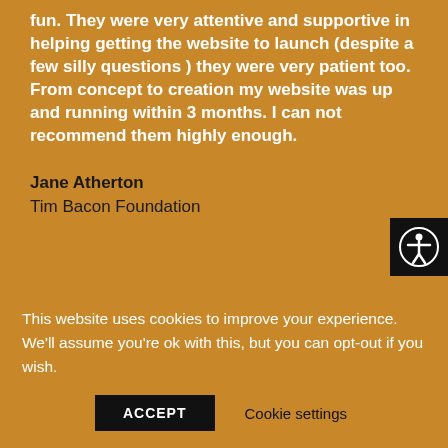fun. They were very attentive and supportive in helping getting the website to launch (despite a few silly questions ) they were very patient too. From concept to creation my website was up and running within 3 months. I can not recommend them highly enough.
Jane Atherton
Tim Bacon Foundation
[Figure (illustration): Accessibility icon — person with outstretched arms in a circle, white on black background]
This website uses cookies to improve your experience. We'll assume you're ok with this, but you can opt-out if you wish.
ACCEPT
Cookie settings